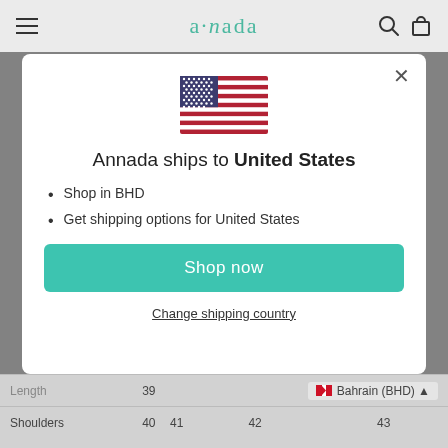[Figure (screenshot): Website navigation bar with hamburger menu, Annada logo in teal cursive script, search and cart icons]
[Figure (illustration): United States flag emoji/icon]
Annada ships to United States
Shop in BHD
Get shipping options for United States
Shop now
Change shipping country
|  |  |  |  |  |
| --- | --- | --- | --- | --- |
|  | Length | 39 |  |  |
|  | Shoulders | 40 | 41 | 42 | 43 |
|  |  |  | Bahrain (BHD) | ▲ |